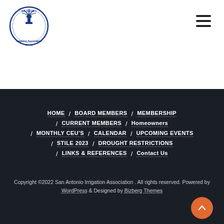[Figure (logo): San Antonio Irrigation Association circular logo with blue irrigation head graphic and text around border]
[Figure (other): Hamburger menu icon (three horizontal lines) in top right corner]
HOME / BOARD MEMBERS / MEMBERSHIP / CURRENT MEMBERS / Homeowners / MONTHLY CEU's / CALENDAR / UPCOMING EVENTS / STILE 2023 / DROUGHT RESTRICTIONS / LINKS & REFERENCES / Contact Us
Copyright ©2022 San Antonio Irrigation Association . All rights reserved. Powered by WordPress & Designed by Bizberg Themes